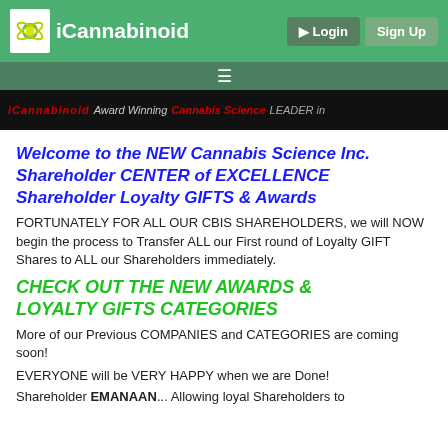iCannabinoid — Login | Sign Up
[Figure (screenshot): Dark video strip with red and white text, partially visible]
Welcome to the NEW Cannabis Science Inc.
Shareholder CENTER of EXCELLENCE
Shareholder Loyalty GIFTS & Awards
FORTUNATELY FOR ALL OUR CBIS SHAREHOLDERS, we will NOW begin the process to Transfer ALL our First round of Loyalty GIFT Shares to ALL our Shareholders immediately.
CHECK OUT THE NEW AWARDS & LOYALTY GIFTS CATEGORIES
More of our Previous COMPANIES and CATEGORIES are coming soon!
EVERYONE will be VERY HAPPY when we are Done!
Shareholder EMANAAN...